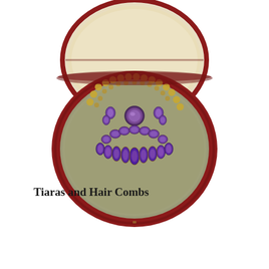[Figure (photo): A red oval jewelry box open to reveal an amethyst parure set displayed on a grey velvet interior — including a necklace of graduated oval and pear-shaped amethysts in gold settings arranged in a crescent, with matching earrings and a central brooch, bordered by a gold bead trim. The lid is lined with cream silk.]
Tiaras and Hair Combs